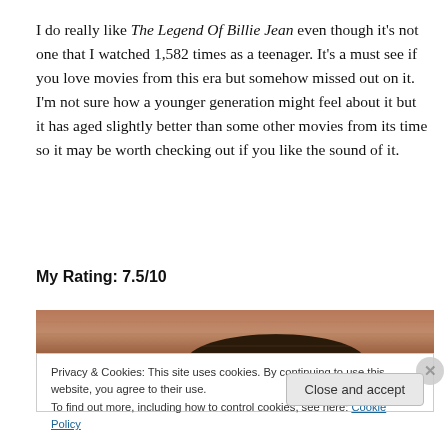I do really like The Legend Of Billie Jean even though it's not one that I watched 1,582 times as a teenager. It's a must see if you love movies from this era but somehow missed out on it. I'm not sure how a younger generation might feel about it but it has aged slightly better than some other movies from its time so it may be worth checking out if you like the sound of it.
My Rating: 7.5/10
[Figure (photo): Partial photo strip showing the top of a person's head against a brick/reddish background, partially obscured by a cookie consent banner.]
Privacy & Cookies: This site uses cookies. By continuing to use this website, you agree to their use.
To find out more, including how to control cookies, see here: Cookie Policy
Close and accept